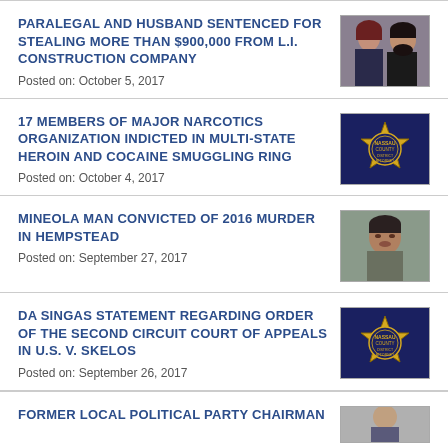PARALEGAL AND HUSBAND SENTENCED FOR STEALING MORE THAN $900,000 FROM L.I. CONSTRUCTION COMPANY
Posted on: October 5, 2017
[Figure (photo): Photo of a woman and a man (couple)]
17 MEMBERS OF MAJOR NARCOTICS ORGANIZATION INDICTED IN MULTI-STATE HEROIN AND COCAINE SMUGGLING RING
Posted on: October 4, 2017
[Figure (logo): Nassau County DA badge/seal logo]
MINEOLA MAN CONVICTED OF 2016 MURDER IN HEMPSTEAD
Posted on: September 27, 2017
[Figure (photo): Mugshot of a man]
DA SINGAS STATEMENT REGARDING ORDER OF THE SECOND CIRCUIT COURT OF APPEALS IN U.S. V. SKELOS
Posted on: September 26, 2017
[Figure (logo): Nassau County DA badge/seal logo]
FORMER LOCAL POLITICAL PARTY CHAIRMAN